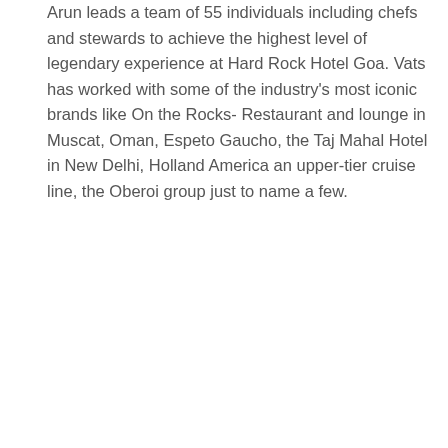Arun leads a team of 55 individuals including chefs and stewards to achieve the highest level of legendary experience at Hard Rock Hotel Goa. Vats has worked with some of the industry's most iconic brands like On the Rocks- Restaurant and lounge in Muscat, Oman, Espeto Gaucho, the Taj Mahal Hotel in New Delhi, Holland America an upper-tier cruise line, the Oberoi group just to name a few.